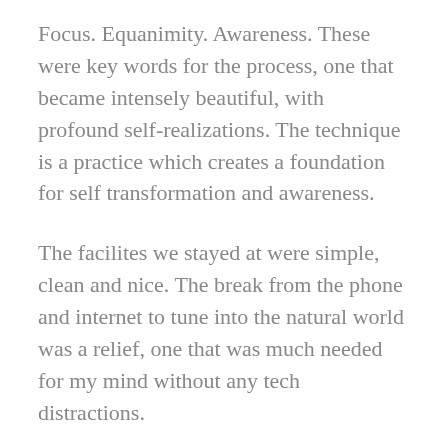Focus. Equanimity. Awareness. These were key words for the process, one that became intensely beautiful, with profound self-realizations. The technique is a practice which creates a foundation for self transformation and awareness.
The facilites we stayed at were simple, clean and nice. The break from the phone and internet to tune into the natural world was a relief, one that was much needed for my mind without any tech distractions.
The last 5 days of the course seemed to